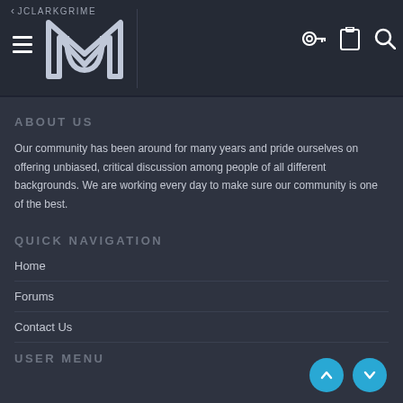JCLARKGRIME — navigation header with hamburger menu, logo, key icon, clipboard icon, search icon
ABOUT US
Our community has been around for many years and pride ourselves on offering unbiased, critical discussion among people of all different backgrounds. We are working every day to make sure our community is one of the best.
QUICK NAVIGATION
Home
Forums
Contact Us
USER MENU